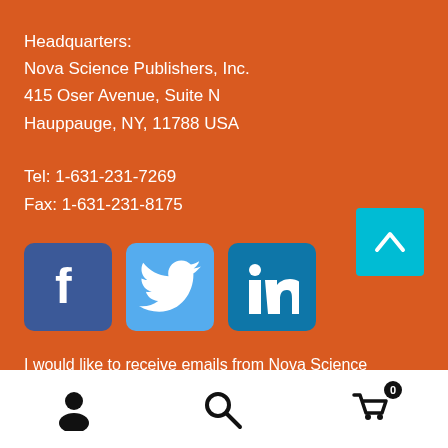Headquarters:
Nova Science Publishers, Inc.
415 Oser Avenue, Suite N
Hauppauge, NY, 11788 USA
Tel: 1-631-231-7269
Fax: 1-631-231-8175
[Figure (logo): Facebook, Twitter, and LinkedIn social media icon buttons]
I would like to receive emails from Nova Science Publishers. Sign me up!
[Figure (other): Scroll to top button (teal arrow up)]
[Figure (other): Bottom navigation bar with user account icon, search icon, and shopping cart icon with badge showing 0]